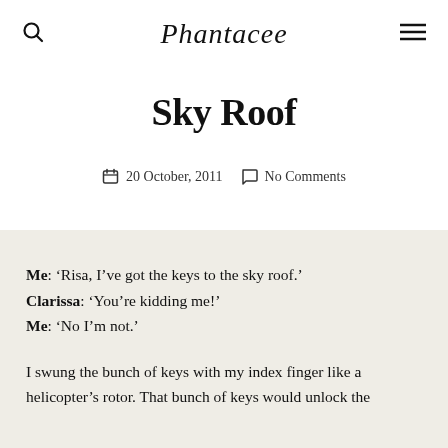Phantacee
Sky Roof
20 October, 2011   No Comments
Me: 'Risa, I've got the keys to the sky roof.'
Clarissa: 'You're kidding me!'
Me: 'No I'm not.'
I swung the bunch of keys with my index finger like a helicopter's rotor. That bunch of keys would unlock the